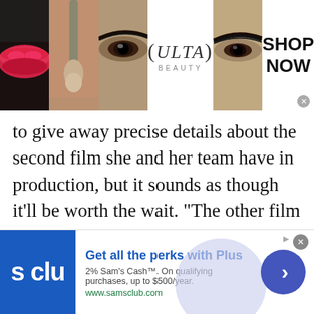[Figure (screenshot): Top advertisement banner for ULTA Beauty with makeup imagery and 'SHOP NOW' text]
to give away precise details about the second film she and her team have in production, but it sounds as though it’ll be worth the wait. “The other film I am directing/producing is very different,” she said. “I am currently working with a great team of producers, and some partners in the U.S., to develop a big documentary that we will unveil this fall via social media. In many ways it is an extension of all of my social issue documentary
[Figure (screenshot): Bottom advertisement banner for Sam's Club 'Plus' membership with blue logo and 'Get all the perks with Plus' headline, '2% Sam’s Cash™. On qualifying purchases, up to $500/year.' text and www.samsclub.com URL]